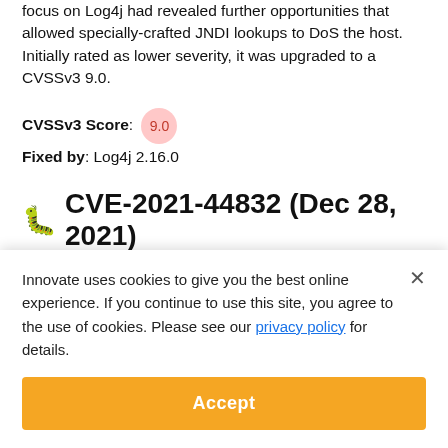focus on Log4j had revealed further opportunities that allowed specially-crafted JNDI lookups to DoS the host. Initially rated as lower severity, it was upgraded to a CVSSv3 9.0.
CVSSv3 Score: 9.0
Fixed by: Log4j 2.16.0
🐛 CVE-2021-44832 (Dec 28, 2021)
Innovate uses cookies to give you the best online experience. If you continue to use this site, you agree to the use of cookies. Please see our privacy policy for details.
Accept